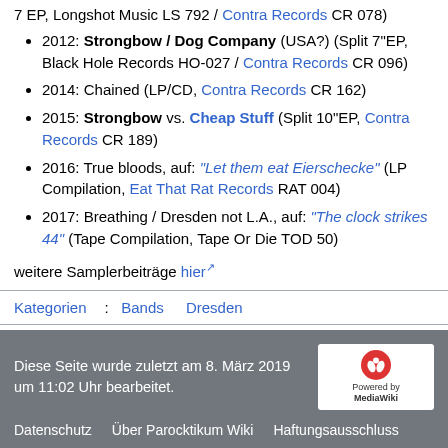7 EP, Longshot Music LS 792 / Contra Records CR 078)
2012: Strongbow / Dog Company (USA?) (Split 7"EP, Black Hole Records HO-027 / Contra Records CR 096)
2014: Chained (LP/CD, Contra Records CR 162)
2015: Strongbow vs. Cheap Stuff (Split 10"EP, Contra Records CR 189)
2016: True bloods, auf: "Let them eat Eierschecke" (LP Compilation, Eat That Rat Records RAT 004)
2017: Breathing / Dresden not L.A., auf: "The clock strikes 44" (Tape Compilation, Tape Or Die TOD 50)
weitere Samplerbeiträge hier
Kategorien: Bands  Dresden
Diese Seite wurde zuletzt am 8. März 2019 um 11:02 Uhr bearbeitet. | Datenschutz | Über Parocktikum Wiki | Haftungsausschluss